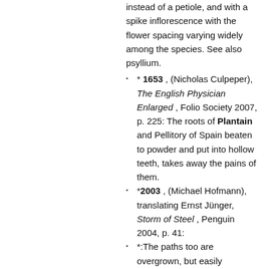instead of a petiole, and with a spike inflorescence with the flower spacing varying widely among the species. See also psyllium.
* 1653 , (Nicholas Culpeper), The English Physician Enlarged , Folio Society 2007, p. 225: The roots of Plantain and Pellitory of Spain beaten to powder and put into hollow teeth, takes away the pains of them.
*2003 , (Michael Hofmann), translating Ernst Jünger, Storm of Steel , Penguin 2004, p. 41:
*:The paths too are overgrown, but easily